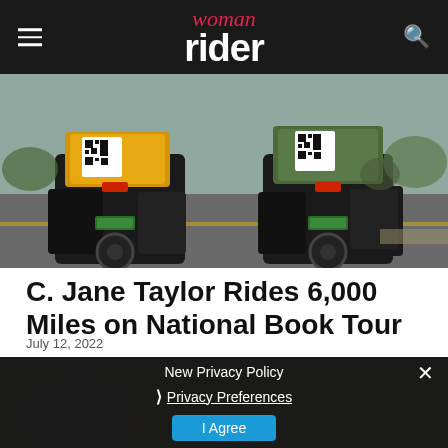woman rider
[Figure (photo): Two motorcycles loaded with luggage including yellow and green bags and QR codes on the back, shot from behind on a road.]
C. Jane Taylor Rides 6,000 Miles on National Book Tour
July 12, 2022
[Figure (screenshot): Privacy policy consent overlay with 'New Privacy Policy' heading, 'Privacy Preferences' link, and 'I Agree' button on dark background.]